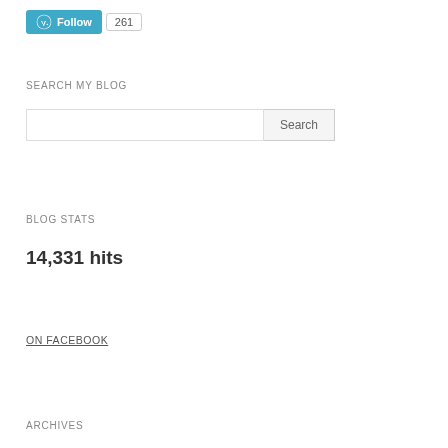[Figure (other): WordPress Follow button with blue background and W logo, followed by a count badge showing 261]
SEARCH MY BLOG
[Figure (other): Search input box with Search button]
BLOG STATS
14,331 hits
ON FACEBOOK
ARCHIVES